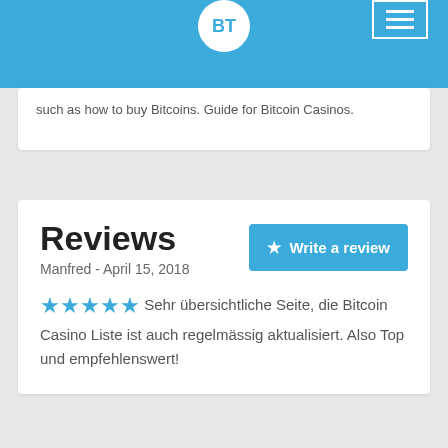BT
such as how to buy Bitcoins. Guide for Bitcoin Casinos.
Reviews
Manfred - April 15, 2018
★★★★★ Sehr übersichtliche Seite, die Bitcoin Casino Liste ist auch regelmässig aktualisiert. Also Top und empfehlenswert!